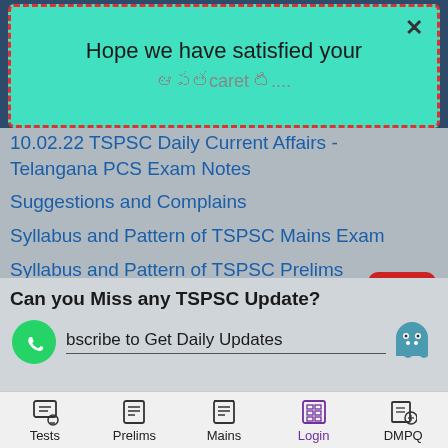[Figure (screenshot): Popup overlay with teal background and red dashed border showing 'Hope we have satisfied your' message with X close button]
10.02.22 TSPSC Daily Current Affairs - Telangana PCS Exam Notes
Suggestions and Complains
Syllabus and Pattern of TSPSC Mains Exam
Syllabus and Pattern of TSPSC Prelims Exam
[Figure (logo): YouTube red play button icon]
Can you Miss any TSPSC Update?
bscribe to Get Daily Updates
[Figure (screenshot): Bottom navigation bar with Tests, Prelims, Mains, Login, DMPQ icons]